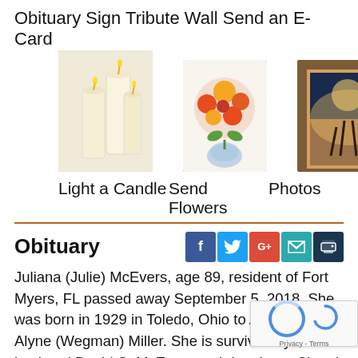Obituary Sign Tribute Wall Send an E-Card
[Figure (photo): Three white pillar candles]
[Figure (photo): Bouquet of orange and red flowers in a glass vase]
[Figure (photo): Framed photo of silhouetted figures at sunset]
Light a Candle Send Flowers  Photos
Obituary
Juliana (Julie) McEvers, age 89, resident of Fort Myers, FL passed away September 5, 2018. She was born in 1929 in Toledo, Ohio to Alton and Alyne (Wegman) Miller. She is survived by her husband David C. McEvers and daughters Cheryl (Dwight) Cameron, Jill (Vic) Dombrowski, Marcia McEvers, grandchildren Chrissy (Jarrett) Shoemaker, Christopher and Eric Dombrowski and great grand-daughter Payton Shoemaker and